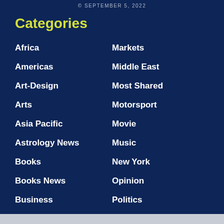© SEPTEMBER 5, 2022
Categories
Africa
Americas
Art-Design
Arts
Asia Pacific
Astrology News
Books
Books News
Business
Cricket
Cryptocurrency
Dance
Dining And Wine
Economy
Markets
Middle East
Most Shared
Motorsport
Movie
Music
New York
Opinion
Politics
Press Release
Real Estate
Review
Science & Space
Sports